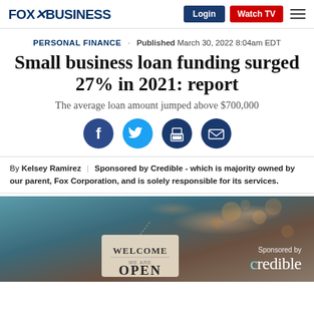FOX BUSINESS | Login | Watch TV
PERSONAL FINANCE · Published March 30, 2022 8:04am EDT
Small business loan funding surged 27% in 2021: report
The average loan amount jumped above $700,000
[Figure (infographic): Social sharing icons: Facebook, Twitter, Print, Email]
By Kelsey Ramirez | Sponsored by Credible - which is majority owned by our parent, Fox Corporation, and is solely responsible for its services.
[Figure (photo): Photo of a small business storefront with a Welcome We Are Open sign hanging in the window. Bokeh lights in background. Sponsored by Credible logo overlay in bottom right.]